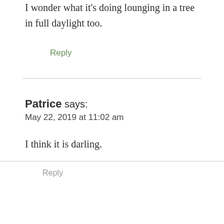I wonder what it's doing lounging in a tree in full daylight too.
Reply
Patrice says:
May 22, 2019 at 11:02 am
I think it is darling.
Reply